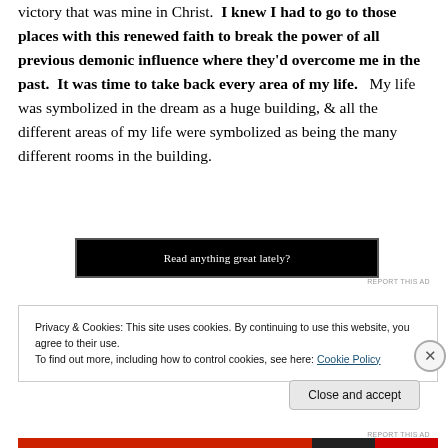victory that was mine in Christ.  I knew I had to go to those places with this renewed faith to break the power of all previous demonic influence where they'd overcome me in the past.  It was time to take back every area of my life.   My life was symbolized in the dream as a huge building, & all the different areas of my life were symbolized as being the many different rooms in the building.
[Figure (other): Dark advertisement banner with text 'Read anything great lately?']
REPORT THIS AD
Privacy & Cookies: This site uses cookies. By continuing to use this website, you agree to their use.
To find out more, including how to control cookies, see here: Cookie Policy
Close and accept